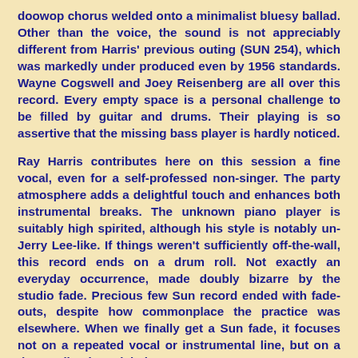doowop chorus welded onto a minimalist bluesy ballad. Other than the voice, the sound is not appreciably different from Harris' previous outing (SUN 254), which was markedly under produced even by 1956 standards. Wayne Cogswell and Joey Reisenberg are all over this record. Every empty space is a personal challenge to be filled by guitar and drums. Their playing is so assertive that the missing bass player is hardly noticed.
Ray Harris contributes here on this session a fine vocal, even for a self-professed non-singer. The party atmosphere adds a delightful touch and enhances both instrumental breaks. The unknown piano player is suitably high spirited, although his style is notably un-Jerry Lee-like. If things weren't sufficiently off-the-wall, this record ends on a drum roll. Not exactly an everyday occurrence, made doubly bizarre by the studio fade. Precious few Sun record ended with fade-outs, despite how commonplace the practice was elsewhere. When we finally get a Sun fade, it focuses not on a repeated vocal or instrumental line, but on a drum roll. What a label!.
For many years it was thought that Elvis Presley played piano on both of Ray Harris's Sun releases. However...